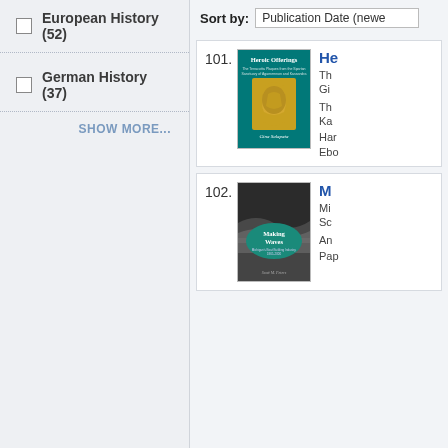European History (52)
German History (37)
SHOW MORE...
Sort by: Publication Date (newest)
101.
[Figure (illustration): Book cover: Heroic Offerings, teal background with gold relief sculpture, author Gina Salapata]
He... (Heroic Offerings title, truncated) The... Gi... The... Ka...
Hard... Ebo...
102.
[Figure (illustration): Book cover: Making Waves, Michigan's Boat Building Industry, black and white with teal oval, author Scott M. Peters]
M... Mi... Sc... An...
Pap...